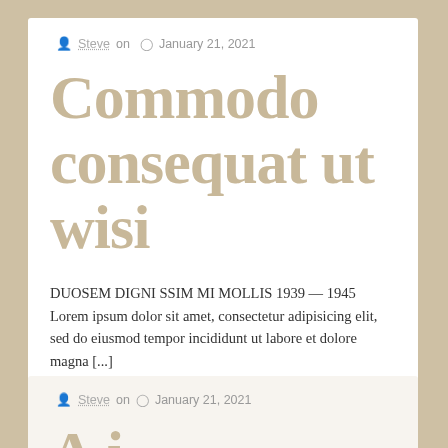Steve on  January 21, 2021
Commodo consequat ut wisi
DUOSEM DIGNI SSIM MI MOLLIS 1939 — 1945 Lorem ipsum dolor sit amet, consectetur adipisicing elit, sed do eiusmod tempor incididunt ut labore et dolore magna [...]
♡ 0     Read more
Steve on  January 21, 2021